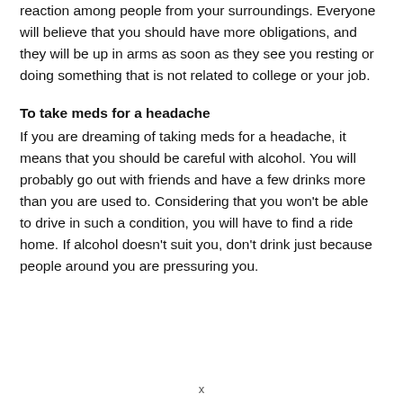reaction among people from your surroundings. Everyone will believe that you should have more obligations, and they will be up in arms as soon as they see you resting or doing something that is not related to college or your job.
To take meds for a headache
If you are dreaming of taking meds for a headache, it means that you should be careful with alcohol. You will probably go out with friends and have a few drinks more than you are used to. Considering that you won't be able to drive in such a condition, you will have to find a ride home. If alcohol doesn't suit you, don't drink just because people around you are pressuring you.
x